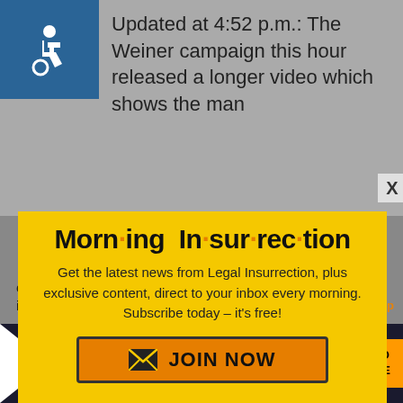Updated at 4:52 p.m.: The Weiner campaign this hour released a longer video which shows the man
[Figure (screenshot): Morning Insurrection newsletter subscription modal popup with yellow background, orange dots between syllables in title, body text and JOIN NOW button]
cares how much the other guy involved this action from Mo...
[Figure (infographic): The Perspective banner ad at bottom: SEE WHAT YOU'RE MISSING with READ MORE button]